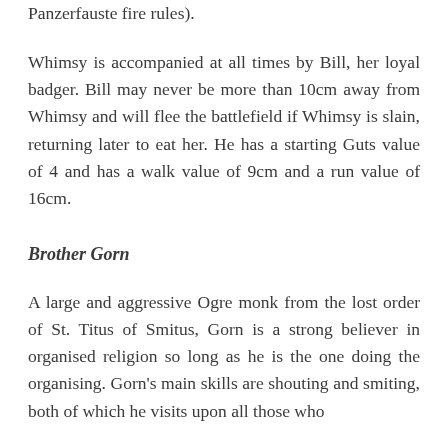Panzerfauste fire rules).
Whimsy is accompanied at all times by Bill, her loyal badger. Bill may never be more than 10cm away from Whimsy and will flee the battlefield if Whimsy is slain, returning later to eat her. He has a starting Guts value of 4 and has a walk value of 9cm and a run value of 16cm.
Brother Gorn
A large and aggressive Ogre monk from the lost order of St. Titus of Smitus, Gorn is a strong believer in organised religion so long as he is the one doing the organising. Gorn's main skills are shouting and smiting, both of which he visits upon all those who